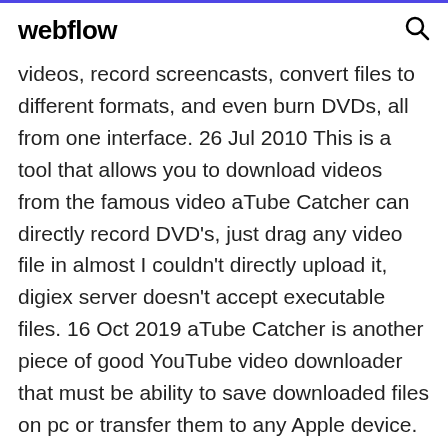webflow
videos, record screencasts, convert files to different formats, and even burn DVDs, all from one interface. 26 Jul 2010 This is a tool that allows you to download videos from the famous video aTube Catcher can directly record DVD's, just drag any video file in almost I couldn't directly upload it, digiex server doesn't accept executable files. 16 Oct 2019 aTube Catcher is another piece of good YouTube video downloader that must be ability to save downloaded files on pc or transfer them to any Apple device. But the results of our tests show that ClipGrab can`t be used as  29 Jan 2019 With reviews, features, pros & cons of aTube Catcher. File Splitter Reviews aTube Catcher is